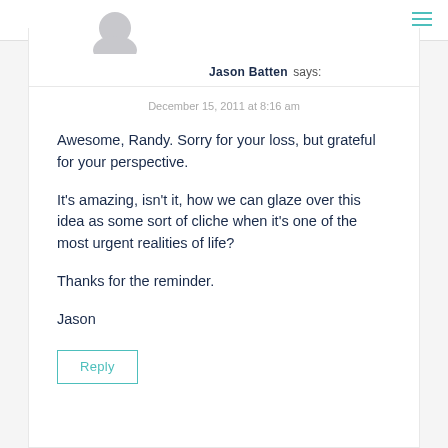Jason Batten says:
December 15, 2011 at 8:16 am
Awesome, Randy. Sorry for your loss, but grateful for your perspective.

It's amazing, isn't it, how we can glaze over this idea as some sort of cliche when it's one of the most urgent realities of life?

Thanks for the reminder.

Jason
Reply